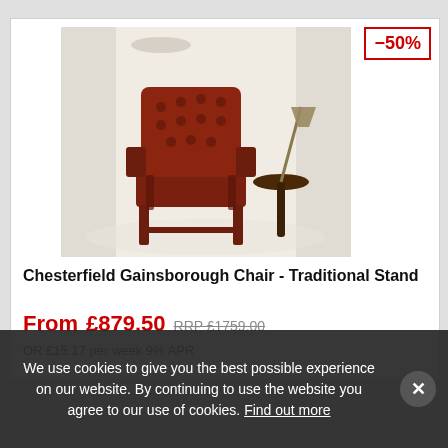[Figure (photo): A red/brown leather tufted Chesterfield Gainsborough armchair with wooden frame, placed on a white floor next to a small round side table with a floor lamp. Soft white curtains in background.]
-50%
Chesterfield Gainsborough Chair - Traditional Stand
From £879.50  RRP £1759.00
OR £15.17 per week 9% APR
We use cookies to give you the best possible experience on our website. By continuing to use the website you agree to our use of cookies. Find out more